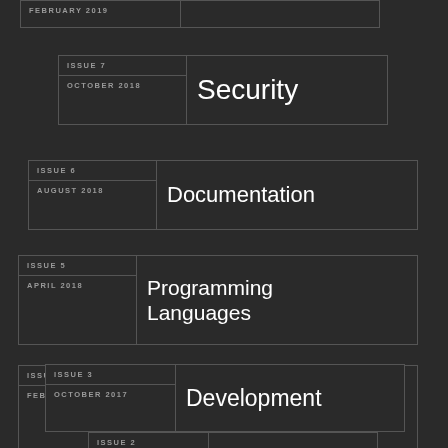FEBRUARY 2019
ISSUE 7 / OCTOBER 2018 / Security
ISSUE 6 / AUGUST 2018 / Documentation
ISSUE 5 / APRIL 2018 / Programming Languages
ISSUE 4 / FEBRUARY 2018 / Energy & Environment
ISSUE 3 / OCTOBER 2017 / Development
ISSUE 2